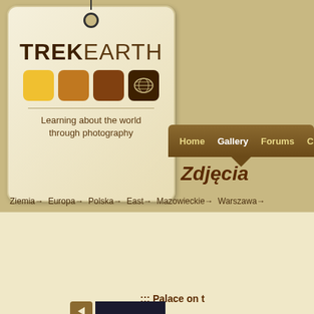[Figure (logo): TrekEarth logo — a tag/label shape with TREK EARTH text, four colored squares (yellow, golden-brown, dark brown, very dark brown with world map), tagline 'Learning about the world through photography']
Home  Gallery  Forums  C...
Zdjęcia
Ziemia → Europa → Polska → East → Mazowieckie → Warszawa →
::: Palace on t...